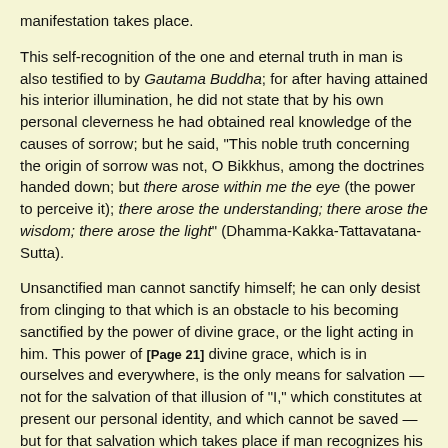manifestation takes place.
This self-recognition of the one and eternal truth in man is also testified to by Gautama Buddha; for after having attained his interior illumination, he did not state that by his own personal cleverness he had obtained real knowledge of the causes of sorrow; but he said, "This noble truth concerning the origin of sorrow was not, O Bikkhus, among the doctrines handed down; but there arose within me the eye (the power to perceive it); there arose the understanding; there arose the wisdom; there arose the light" (Dhamma-Kakka-Tattavatana-Sutta).
Unsanctified man cannot sanctify himself; he can only desist from clinging to that which is an obstacle to his becoming sanctified by the power of divine grace, or the light acting in him. This power of [Page 21] divine grace, which is in ourselves and everywhere, is the only means for salvation — not for the salvation of that illusion of "I," which constitutes at present our personal identity, and which cannot be saved — but for that salvation which takes place if man recognizes his own true divine nature, and thus becomes himself the reality.
Thus real "practical occultism" does not consist in the selfish acquisition of certain secrets of nature which may be used for the benefit of the individual, or as a means of distinction and